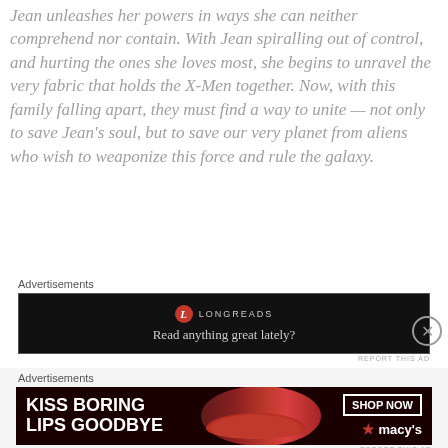Jean unleashes her powers in ways she can neither comprehend nor contain. With Jean spiralling out of control, and hurting the ones she loves most, she begins to unravel the very fabric that holds the X-Men together. Now, with this family falling apart, they must find a way to unite — not only to save Jean's soul, but to save our very planet from aliens who wish to weaponize this force and rule the galaxy.
Advertisements
[Figure (other): Longreads advertisement: black background with Longreads logo (red circle with L) and tagline 'Read anything great lately?']
Advertisements
[Figure (other): Macy's advertisement: dark background with woman's face and red lips, text 'KISS BORING LIPS GOODBYE', 'SHOP NOW' button, and Macy's star logo]